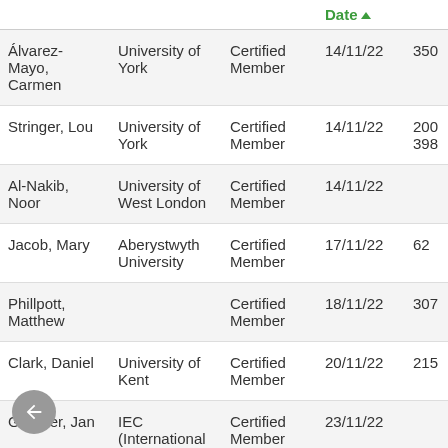|  |  |  | Date ▲ |  |
| --- | --- | --- | --- | --- |
| Álvarez-Mayo, Carmen | University of York | Certified Member | 14/11/22 | 350 |
| Stringer, Lou | University of York | Certified Member | 14/11/22 | 200398 |
| Al-Nakib, Noor | University of West London | Certified Member | 14/11/22 |  |
| Jacob, Mary | Aberystwyth University | Certified Member | 17/11/22 | 62 |
| Phillpott, Matthew |  | Certified Member | 18/11/22 | 307 |
| Clark, Daniel | University of Kent | Certified Member | 20/11/22 | 215 |
| Gardner, Jan | IEC (International Electrotechnical | Certified Member | 23/11/22 |  |